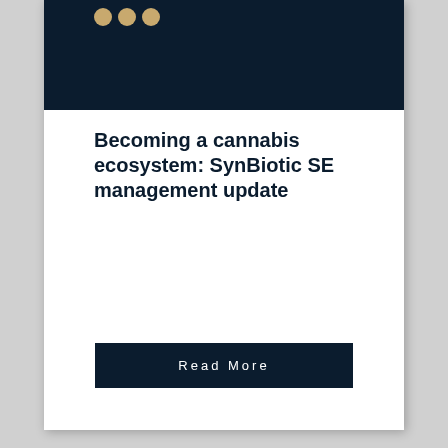[Figure (illustration): Dark navy blue banner/image area with three gold-tan colored dots/circles at the top left]
Becoming a cannabis ecosystem: SynBiotic SE management update
Read More